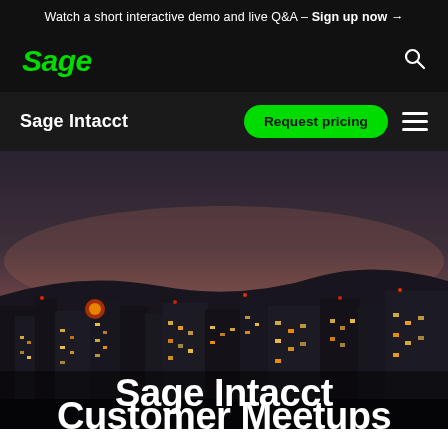Watch a short interactive demo and live Q&A – Sign up now →
[Figure (logo): Sage logo in green italic text on black background with search icon]
Sage Intacct
[Figure (photo): Night cityscape with buildings silhouetted against a dusk sky, city lights visible]
Sage Intacct Customer Meetups